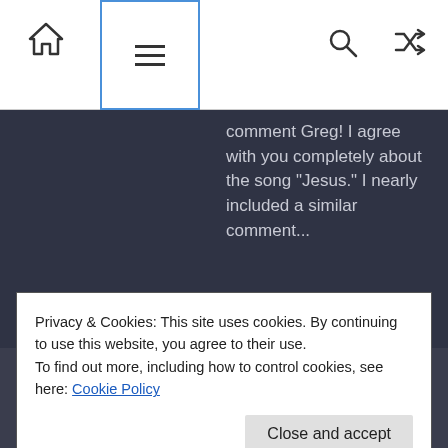Navigation bar with home icon, menu icon, search icon, shuffle icon
comment Greg! I agree with you completely about the song "Jesus." I nearly included a similar comment...
© Rambling Ever On, 2015 - Present. Unauthorized use and/or duplication of this material without express and written...
Privacy & Cookies: This site uses cookies. By continuing to use this website, you agree to their use.
To find out more, including how to control cookies, see here: Cookie Policy
Close and accept